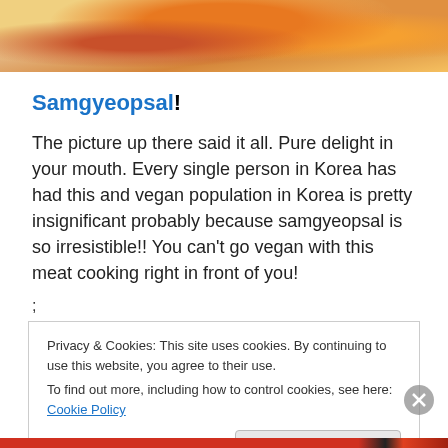[Figure (photo): Photo of samgyeopsal (Korean grilled pork belly), showing glazed, orange-red meat with sauce, cropped at top of page]
Samgyeopsal!
The picture up there said it all. Pure delight in your mouth. Every single person in Korea has had this and vegan population in Korea is pretty insignificant probably because samgyeopsal is so irresistible!! You can’t go vegan with this meat cooking right in front of you!
;
Privacy & Cookies: This site uses cookies. By continuing to use this website, you agree to their use.
To find out more, including how to control cookies, see here: Cookie Policy
Close and accept